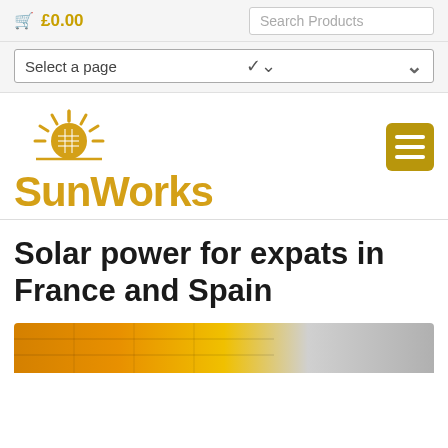£0.00  Search Products
Select a page
[Figure (logo): SunWorks logo with sun icon above text 'SunWorks' in golden yellow color, and a golden menu button in top right]
Solar power for expats in France and Spain
[Figure (photo): Partial photo of solar panels, cropped at bottom of page, orange/yellow and grey tones]